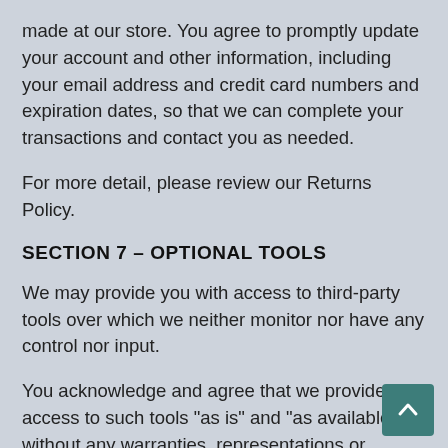made at our store. You agree to promptly update your account and other information, including your email address and credit card numbers and expiration dates, so that we can complete your transactions and contact you as needed.
For more detail, please review our Returns Policy.
SECTION 7 – OPTIONAL TOOLS
We may provide you with access to third-party tools over which we neither monitor nor have any control nor input.
You acknowledge and agree that we provide access to such tools "as is" and "as available" without any warranties, representations or conditions of any kind and